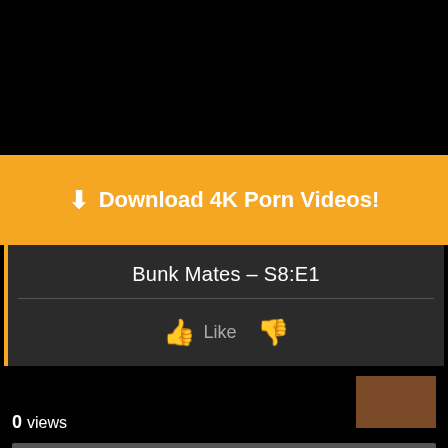[Figure (screenshot): Black background top area of a video streaming website]
⬇ Download 4K Porn Videos!
Bunk Mates – S8:E1
👍 Like 👎
0 views
0%
👍 0  👎 0